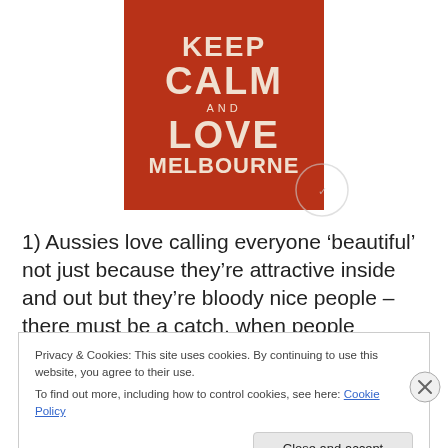[Figure (illustration): Keep Calm and Love Melbourne poster — red/brown background with white bold text reading KEEP CALM AND LOVE MELBOURNE in stacked lines, with a faint circular watermark in lower right corner.]
1) Aussies love calling everyone 'beautiful' not just because they're attractive inside and out but they're bloody nice people – there must be a catch, when people
Privacy & Cookies: This site uses cookies. By continuing to use this website, you agree to their use.
To find out more, including how to control cookies, see here: Cookie Policy